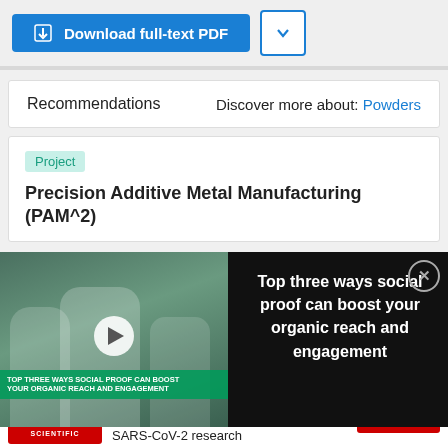[Figure (screenshot): Download full-text PDF button (blue) with a dropdown chevron button (white/blue outline)]
Recommendations    Discover more about: Powders
Project
Precision Additive Metal Manufacturing (PAM^2)
[Figure (screenshot): Video overlay showing laboratory workers with text: Top three ways social proof can boost your organic reach and engagement. Includes a play button and close (X) button.]
View project
Advertisement
[Figure (screenshot): ThermoFisher Scientific advertisement: On-demand qPCR webinars to accelerate your SARS-CoV-2 research. Watch now button.]